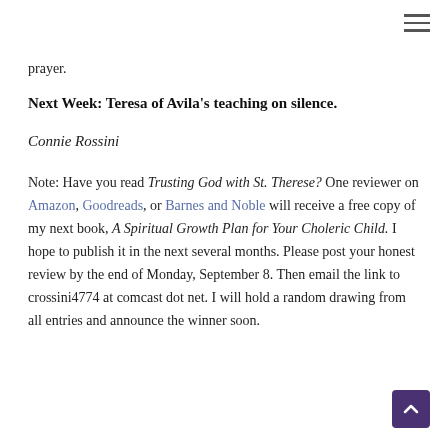≡
prayer.
Next Week: Teresa of Avila's teaching on silence.
Connie Rossini
Note: Have you read Trusting God with St. Therese? One reviewer on Amazon, Goodreads, or Barnes and Noble will receive a free copy of my next book, A Spiritual Growth Plan for Your Choleric Child. I hope to publish it in the next several months. Please post your honest review by the end of Monday, September 8. Then email the link to crossini4774 at comcast dot net. I will hold a random drawing from all entries and announce the winner soon.